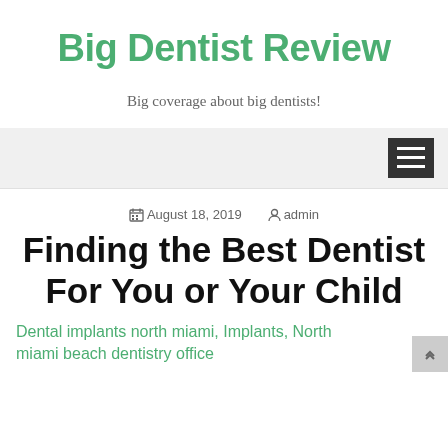Big Dentist Review
Big coverage about big dentists!
August 18, 2019  admin
Finding the Best Dentist For You or Your Child
Dental implants north miami, Implants, North miami beach dentistry office